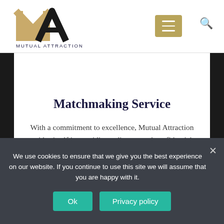[Figure (logo): Mutual Attraction logo — stylized gold 'M' and black 'A' letters above the text 'MUTUAL ATTRACTION']
Matchmaking Service
With a commitment to excellence, Mutual Attraction prides itself in providing a discreet and confidential service for its discerning clients.
We use cookies to ensure that we give you the best experience on our website. If you continue to use this site we will assume that you are happy with it.